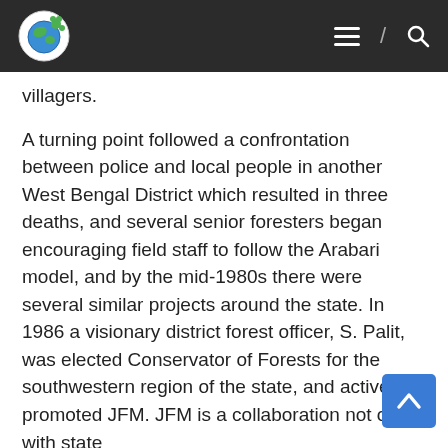[Navigation bar with logo, hamburger menu, slash, and search icon]
villagers.
A turning point followed a confrontation between police and local people in another West Bengal District which resulted in three deaths, and several senior foresters began encouraging field staff to follow the Arabari model, and by the mid-1980s there were several similar projects around the state. In 1986 a visionary district forest officer, S. Palit, was elected Conservator of Forests for the southwestern region of the state, and actively promoted JFM. JFM is a collaboration not only with state